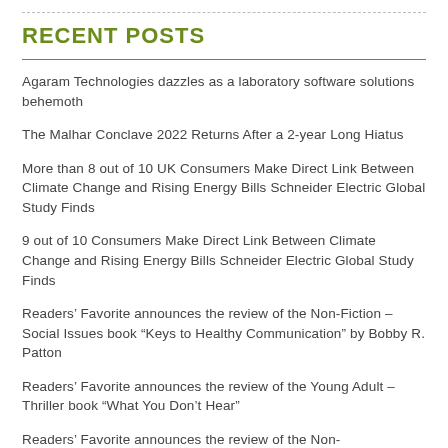RECENT POSTS
Agaram Technologies dazzles as a laboratory software solutions behemoth
The Malhar Conclave 2022 Returns After a 2-year Long Hiatus
More than 8 out of 10 UK Consumers Make Direct Link Between Climate Change and Rising Energy Bills Schneider Electric Global Study Finds
9 out of 10 Consumers Make Direct Link Between Climate Change and Rising Energy Bills Schneider Electric Global Study Finds
Readers' Favorite announces the review of the Non-Fiction – Social Issues book “Keys to Healthy Communication” by Bobby R. Patton
Readers' Favorite announces the review of the Young Adult – Thriller book “What You Don’t Hear”
Readers' Favorite announces the review of the Non-